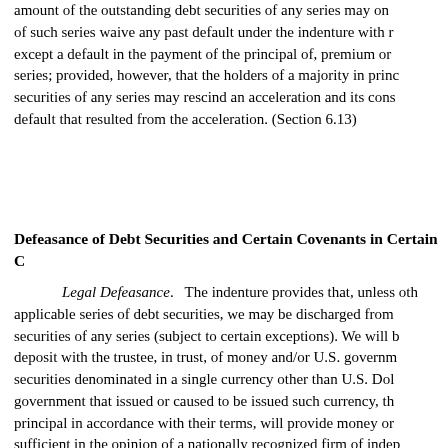amount of the outstanding debt securities of any series may on behalf of such series waive any past default under the indenture with respect except a default in the payment of the principal of, premium or series; provided, however, that the holders of a majority in principal amount of the debt securities of any series may rescind an acceleration and its consequences if the default that resulted from the acceleration. (Section 6.13)
Defeasance of Debt Securities and Certain Covenants in Certain Circumstances
Legal Defeasance.   The indenture provides that, unless otherwise provided by the applicable series of debt securities, we may be discharged from our obligations on the debt securities of any series (subject to certain exceptions). We will be so discharged upon the deposit with the trustee, in trust, of money and/or U.S. government obligations or, in the case of securities denominated in a single currency other than U.S. Dollars, government obligations of the government that issued or caused to be issued such currency, that, through the payment of interest and principal in accordance with their terms, will provide money or government obligations sufficient in the opinion of a nationally recognized firm of independent public accountants or a bank to pay and discharge each installment of principal, premium and interest, and any sinking fund payments in respect of the debt securities of that series on the stated maturity of those payments in accordance with the terms of the indenture and those debt securities.
This discharge may occur only if, among other things, we have delivered to the trustee an opinion of counsel stating that we have received from, or there has been published by, the United States Internal Revenue Service a ruling or, since the date of execution of the indenture, there has been a change in the applicable United States federal income tax law, in either case to the effect that, and based thereon such opinion shall confirm that, the holders of the debt securities of that series will not recognize income, gain or loss for United States federal income tax purposes as a result of the deposit, defeasance and discharge and will be subject to United States federal income tax on the same amounts and in the same manner and at the same times as would have been the case if the deposit, defeasance